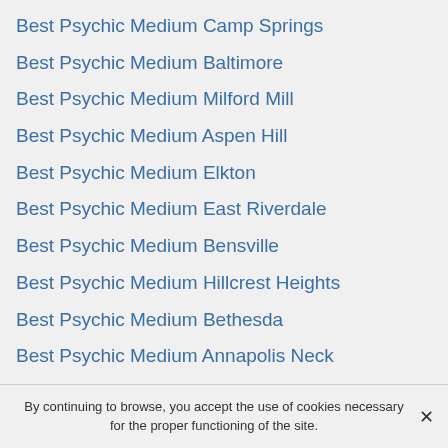Best Psychic Medium Camp Springs
Best Psychic Medium Baltimore
Best Psychic Medium Milford Mill
Best Psychic Medium Aspen Hill
Best Psychic Medium Elkton
Best Psychic Medium East Riverdale
Best Psychic Medium Bensville
Best Psychic Medium Hillcrest Heights
Best Psychic Medium Bethesda
Best Psychic Medium Annapolis Neck
Best Psychic Medium Olney
Best Psychic Medium Accokeek
Best Psychic Medium [partially visible]
By continuing to browse, you accept the use of cookies necessary for the proper functioning of the site.